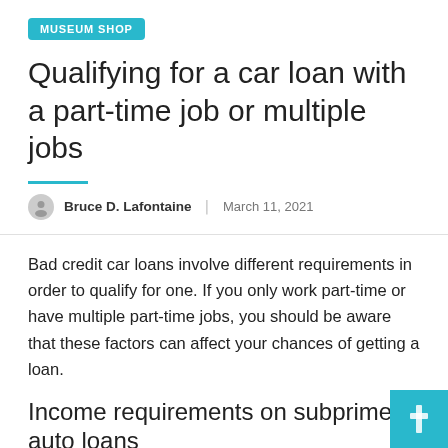MUSEUM SHOP
Qualifying for a car loan with a part-time job or multiple jobs
Bruce D. Lafontaine  |  March 11, 2021
Bad credit car loans involve different requirements in order to qualify for one. If you only work part-time or have multiple part-time jobs, you should be aware that these factors can affect your chances of getting a loan.
Income requirements on subprime auto loans
When it comes to subprime auto loan income requirements, there are generally three different factors to consider: